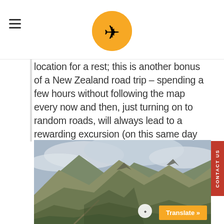Travel blog header with logo (airplane emoji on orange circle) and hamburger menu
location for a rest; this is another bonus of a New Zealand road trip – spending a few hours without following the map every now and then, just turning on to random roads, will always lead to a rewarding excursion (on this same day we also accidentally ended up on a private farm, hung out with a pony and had a great chat with the friendly owner)
[Figure (photo): Mountain landscape with dramatic rocky peaks, brown/green grassy slopes, cloudy sky — New Zealand highland scenery]
Translate »